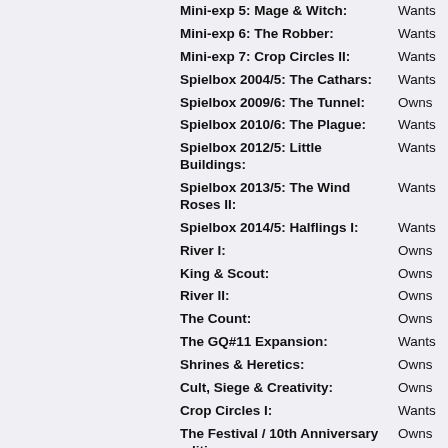Mini-exp 5: Mage & Witch: Wants
Mini-exp 6: The Robber: Wants
Mini-exp 7: Crop Circles II: Wants
Spielbox 2004/5: The Cathars: Wants
Spielbox 2009/6: The Tunnel: Owns
Spielbox 2010/6: The Plague: Wants
Spielbox 2012/5: Little Buildings: Wants
Spielbox 2013/5: The Wind Roses II: Wants
Spielbox 2014/5: Halflings I: Wants
River I: Owns
King & Scout: Owns
River II: Owns
The Count: Owns
The GQ#11 Expansion: Wants
Shrines & Heretics: Owns
Cult, Siege & Creativity: Owns
Crop Circles I: Wants
The Festival / 10th Anniversary edition: Owns
The Phantom: Wants
The School: Wants
The Wind Roses: Wants